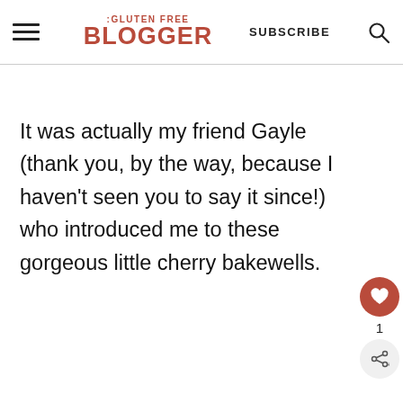THE GLUTEN FREE BLOGGER | SUBSCRIBE
It was actually my friend Gayle (thank you, by the way, because I haven't seen you to say it since!) who introduced me to these gorgeous little cherry bakewells.